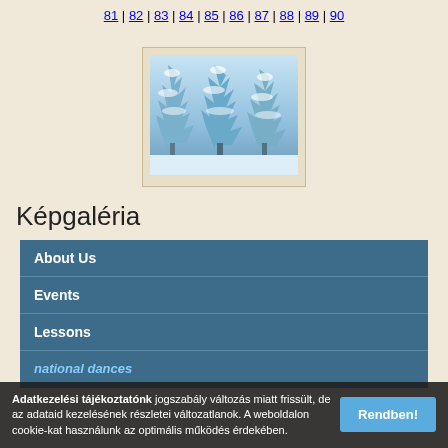81 | 82 | 83 | 84 | 85 | 86 | 87 | 88 | 89 | 90
[Figure (photo): A winter landscape photograph showing snow-covered evergreen trees against a pale blue sky, displayed in a beige frame.]
Képgaléria
About Us
Events
Lessons
national dances
Adatkezelési tájékoztatónk jogszabály változás miatt frissült, de az adataid kezelésének részletei változatlanok. A weboldalon cookie-kat használunk az optimális működés érdekében.